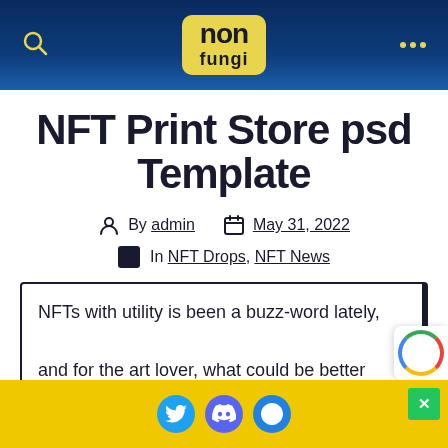non fungi
NFT Print Store psd Template
By admin   May 31, 2022
In NFT Drops, NFT News
NFTs with utility is been a buzz-word lately, and for the art lover, what could be better than the utility of being able to print and…
social icons: Twitter, Discord, OpenSea